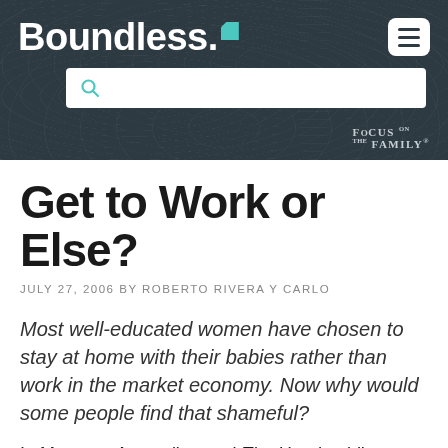[Figure (logo): Boundless logo with teal diamond accent on dark navy background with topographic line pattern, plus hamburger menu button and search bar, and Focus on the Family branding]
Get to Work or Else?
JULY 27, 2006 BY ROBERTO RIVERA Y CARLO
Most well-educated women have chosen to stay at home with their babies rather than work in the market economy. Now why would some people find that shameful?
In Margaret Atwood's novel The Handmaid's